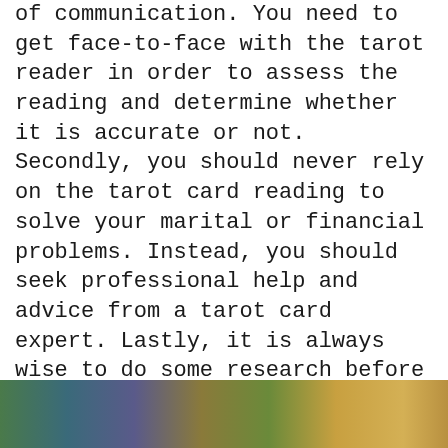of communication. You need to get face-to-face with the tarot reader in order to assess the reading and determine whether it is accurate or not. Secondly, you should never rely on the tarot card reading to solve your marital or financial problems. Instead, you should seek professional help and advice from a tarot card expert. Lastly, it is always wise to do some research before choosing a tarot card reader because only you know whether they are clairvoyant and experienced in tarot card reading.
[Figure (photo): A partially visible photograph showing colorful objects, appears to include blue, green, and yellow/golden tones, cropped at the bottom of the page.]